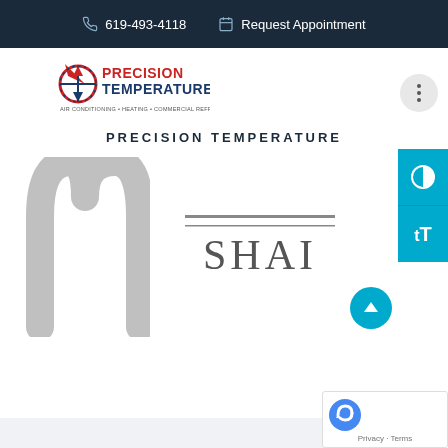619-493-4118   Request Appointment
[Figure (logo): Precision Temperature logo with red and blue compass/arrow icon and text: PRECISION TEMPERATURE, Air Conditioning - Heating - Commercial Refrigeration]
PRECISION TEMPERATURE
[Figure (logo): McDonald's golden arches logo in gray (arch shape only)]
[Figure (logo): SHAI logo in gray serif font with horizontal lines above and below]
[Figure (other): Website UI elements: contrast toggle button, text size button (tT), scroll-to-top arrow button, reCAPTCHA badge with Privacy and Terms text]